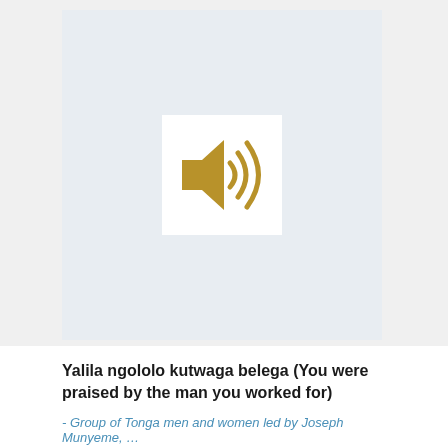[Figure (illustration): Audio/speaker icon — a golden speaker with sound waves on a white square background, set against a light grey-blue area]
Yalila ngololo kutwaga belega (You were praised by the man you worked for)
- Group of Tonga men and women led by Joseph Munyeme, …